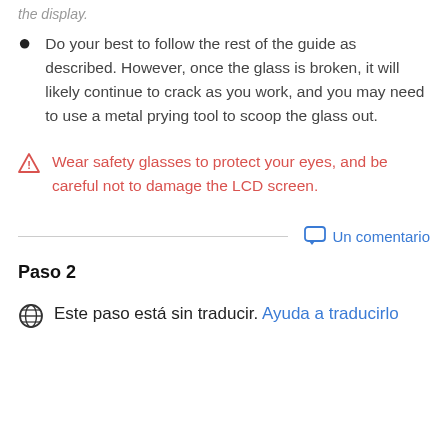Do your best to follow the rest of the guide as described. However, once the glass is broken, it will likely continue to crack as you work, and you may need to use a metal prying tool to scoop the glass out.
Wear safety glasses to protect your eyes, and be careful not to damage the LCD screen.
Un comentario
Paso 2
Este paso está sin traducir. Ayuda a traducirlo